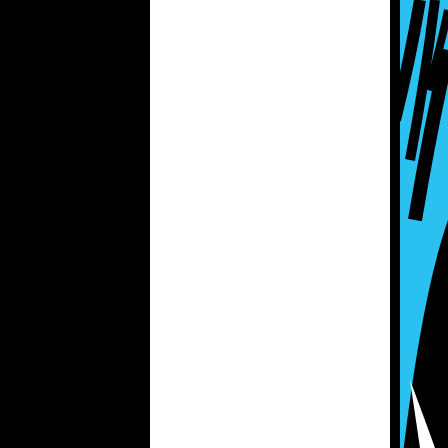[Figure (photo): Partial view of a person, gray/light background, cropped]
London where she worked in the National Health Service as a midwife, community nurse, health visitor, reproductive and sexual health nurse and manager over a period of 30 years. She did not encounter FGM/C during
[Figure (illustration): Blue and black decorative graphic element on the right edge of the page]